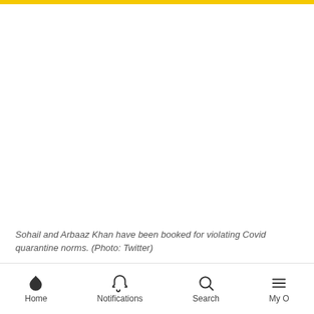[Figure (photo): A photo area (white/blank) related to Sohail and Arbaaz Khan]
Sohail and Arbaaz Khan have been booked for violating Covid quarantine norms. (Photo: Twitter)
The trio will be tested for Covid when their quarantine period is over. Meanwhile, BMC is contact-tracing those who came in contact with the trio, which would include Bhai too. All the best to BMC.
Home | Notifications | Search | My O